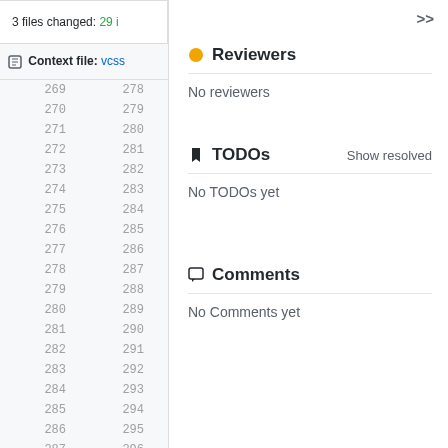3 files changed: 29 i
Context file: vcss
269 278
270 279
271 280
272 281
273 282
274 283
275 284
276 285
277 286
278 287
279 288
280 289
281 290
282 291
283 292
284 293
285 294
286 295
287 296
288 297
289 298
Reviewers
No reviewers
TODOs
Show resolved
No TODOs yet
Comments
No Comments yet